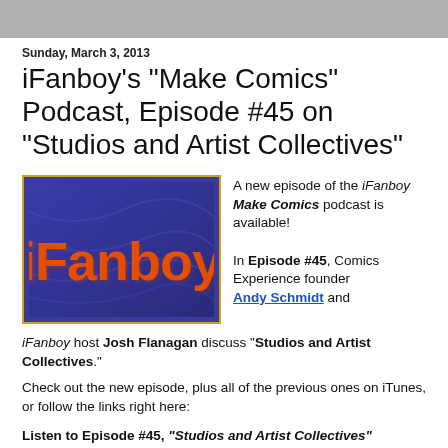Sunday, March 3, 2013
iFanboy's "Make Comics" Podcast, Episode #45 on "Studios and Artist Collectives"
[Figure (logo): iFanboy logo — orange stylized text 'iFanboy' on a blue/purple background]
A new episode of the iFanboy Make Comics podcast is available!

In Episode #45, Comics Experience founder Andy Schmidt and iFanboy host Josh Flanagan discuss "Studios and Artist Collectives."
Check out the new episode, plus all of the previous ones on iTunes, or follow the links right here:
Listen to Episode #45, "Studios and Artist Collectives"